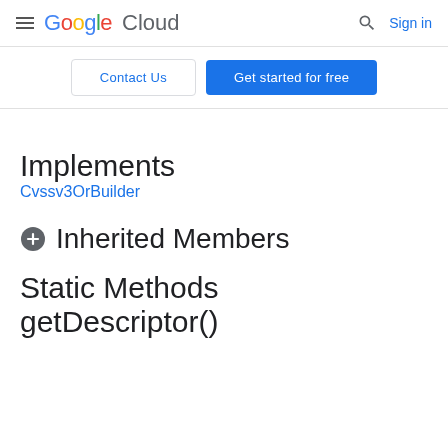Google Cloud — Sign in
Contact Us | Get started for free
Implements
Cvssv3OrBuilder
Inherited Members
Static Methods
getDescriptor()